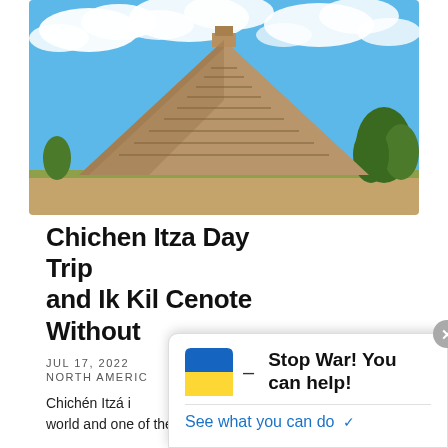[Figure (photo): Photograph of the Chichen Itza pyramid (El Castillo / Temple of Kukulcan) under a blue sky with white clouds. The stepped Mayan pyramid dominates the center with green trees to the right and sandy ground in the foreground.]
Chichen Itza Day Trip and Ik Kil Cenote Without
JUL 17, 2022
NORTH AMERICA
Chichén Itzá i world and one of the main
[Figure (infographic): A pop-up overlay widget showing a Ukrainian flag icon (blue and yellow rounded square), a dash separator, the text 'Stop War! You can help!' in bold, a horizontal divider, and a blue link 'See what you can do ✓'. A grey close button (×) appears in the top-right corner.]